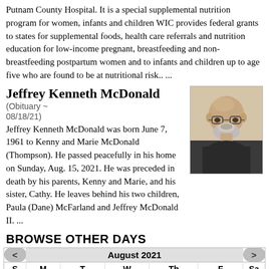Putnam County Hospital. It is a special supplemental nutrition program for women, infants and children WIC provides federal grants to states for supplemental foods, health care referrals and nutrition education for low-income pregnant, breastfeeding and non-breastfeeding postpartum women and to infants and children up to age five who are found to be at nutritional risk.. ...
Jeffrey Kenneth McDonald (Obituary ~ 08/18/21)
Jeffrey Kenneth McDonald was born June 7, 1961 to Kenny and Marie McDonald (Thompson). He passed peacefully in his home on Sunday, Aug. 15, 2021. He was preceded in death by his parents, Kenny and Marie, and his sister, Cathy. He leaves behind his two children, Paula (Dane) McFarland and Jeffrey McDonald II. ...
[Figure (photo): Portrait photo of Jeffrey Kenneth McDonald, a bald man with glasses and a white beard, wearing a dark shirt.]
BROWSE OTHER DAYS
| < | August 2021 |  |  |  |  | > | S | M | T | W | Th | F | Sa |
| --- | --- | --- | --- | --- | --- | --- | --- | --- | --- | --- | --- | --- | --- |
| 1 | 2 | 3 | 4 | 5 | 6 | 7 |
| 8 | 9 | 10 | 11 | 12 | 13 | 14 |